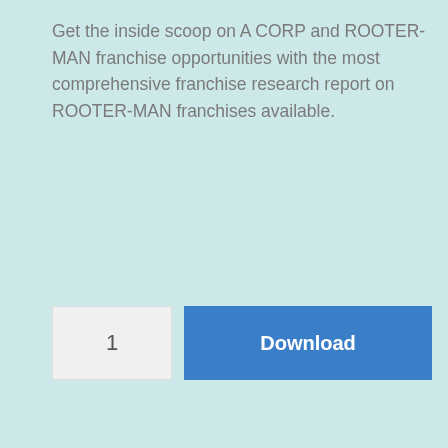Get the inside scoop on A CORP and ROOTER-MAN franchise opportunities with the most comprehensive franchise research report on ROOTER-MAN franchises available.
1 [Download button] [Buy now button]
SKU: 4f9fb93fa28c
Category: Due Diligence Reports
Tag: A CORP
[Figure (logo): TrustedSite CERTIFIED SECURE badge with green checkmark]
[Figure (infographic): Footer navigation icons: person, search magnifier, shopping cart with badge showing 0]